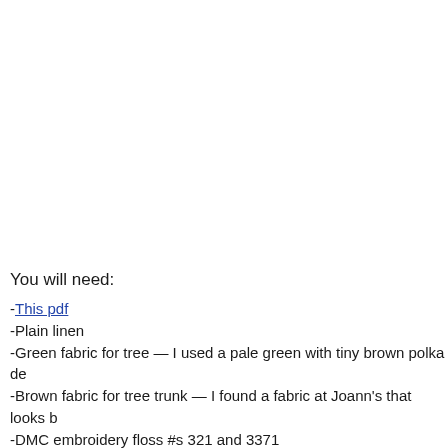You will need:
-This pdf
-Plain linen
-Green fabric for tree — I used a pale green with tiny brown polka de
-Brown fabric for tree trunk — I found a fabric at Joann's that looks b
-DMC embroidery floss #s 321 and 3371
-Steam-A-Seam2 fusible web or Steam-A-Seam 2 lite
-Sewing machine with linen-colored thread
-Stuffing
-Needle to blind stitch the opening shut by hand